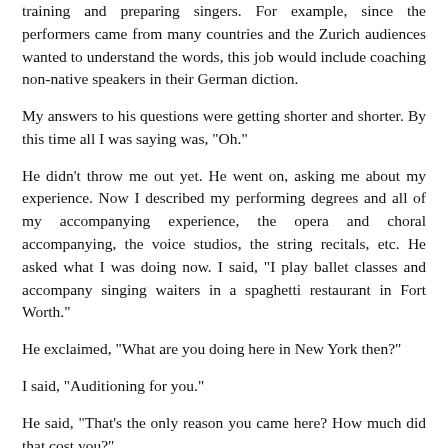training and preparing singers. For example, since the performers came from many countries and the Zurich audiences wanted to understand the words, this job would include coaching non-native speakers in their German diction.
My answers to his questions were getting shorter and shorter. By this time all I was saying was, "Oh."
He didn't throw me out yet. He went on, asking me about my experience. Now I described my performing degrees and all of my accompanying experience, the opera and choral accompanying, the voice studios, the string recitals, etc. He asked what I was doing now. I said, "I play ballet classes and accompany singing waiters in a spaghetti restaurant in Fort Worth."
He exclaimed, "What are you doing here in New York then?"
I said, "Auditioning for you."
He said, "That's the only reason you came here? How much did that cost you?"